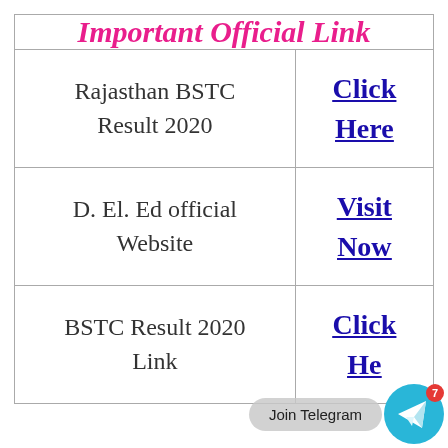Important Official Link
|  |  |
| --- | --- |
| Rajasthan BSTC Result 2020 | Click Here |
| D. El. Ed official Website | Visit Now |
| BSTC Result 2020 Link | Click Here |